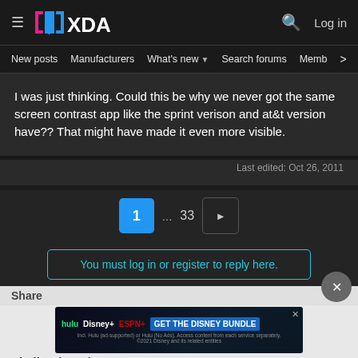XDA — Log in
New posts  Manufacturers  What's new  Search forums  Members  >
I was just thinking. Could this be why we never got the same screen contrast app like the sprint verison and at&t version have?? That might have made it even more visible.
Last edited: Oct 26, 2011
1  ...  33  ▶
You must log in or register to reply here.
Share
[Figure (screenshot): Disney Bundle advertisement banner showing Hulu, Disney+, and ESPN+ logos with 'GET THE DISNEY BUNDLE' call to action]
Similar threads